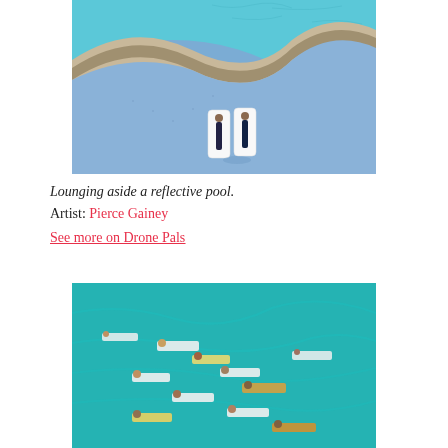[Figure (photo): Aerial drone photo looking straight down at two people lounging on white floats in a blue swimming pool, with a curved sandy/beige pool edge dividing the turquoise water area from a deeper blue tiled section.]
Lounging aside a reflective pool.
Artist: Pierce Gainey
See more on Drone Pals
[Figure (photo): Aerial drone photo looking straight down at surfers and paddleboarders scattered across vivid turquoise ocean water, with their boards visible in various orientations.]